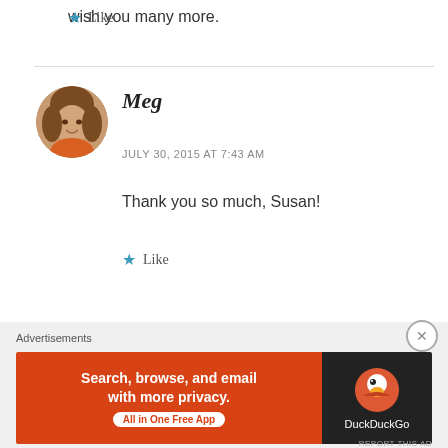wish you many more.
★ Like
[Figure (photo): Circular avatar photo of Meg, a woman with wavy hair smiling, wearing an orange top]
Meg
JULY 30, 2015 AT 7:43 AM
Thank you so much, Susan!
★ Like
Advertisements
[Figure (screenshot): DuckDuckGo advertisement banner: orange left panel with text 'Search, browse, and email with more privacy. All in One Free App' and dark right panel with DuckDuckGo logo and text 'DuckDuckGo']